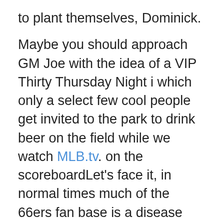to plant themselves, Dominick.
Maybe you should approach GM Joe with the idea of a VIP Thirty Thursday Night i which only a select few cool people get invited to the park to drink beer on the field while we watch MLB.tv. on the scoreboardLet's face it, in normal times much of the 66ers fan base is a disease ridden scourge, so it is best to keep the masses home. Let's just start with my crew, and some of the front office staff I like (not that one guy). I will even be the celebrity bartender. If your organization does not have MLB.tv, we can use my login. Hopefully. somebody can make some wings. Firing up the soft serve ice cream machine could be a good idea also.
I need to run for now. Perhaps I will come down to the Top Gun showing at San Manuel Stadium tonight. I assume